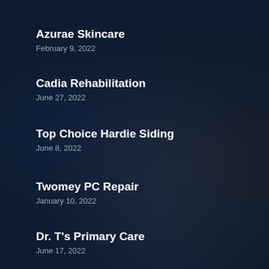Azurae Skincare
February 9, 2022
Cadia Rehabilitation
June 27, 2022
Top Choice Hardie Siding
June 8, 2022
Twomey PC Repair
January 10, 2022
Dr. T's Primary Care
June 17, 2022